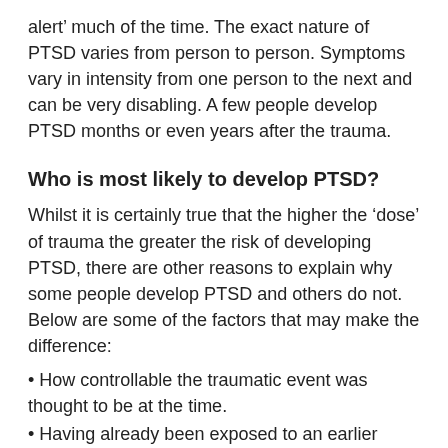alert' much of the time. The exact nature of PTSD varies from person to person. Symptoms vary in intensity from one person to the next and can be very disabling. A few people develop PTSD months or even years after the trauma.
Who is most likely to develop PTSD?
Whilst it is certainly true that the higher the 'dose' of trauma the greater the risk of developing PTSD, there are other reasons to explain why some people develop PTSD and others do not. Below are some of the factors that may make the difference:
• How controllable the traumatic event was thought to be at the time.
• Having already been exposed to an earlier traumatic event, particularly in childhood.
• Not having reasonable levels of social support in the community